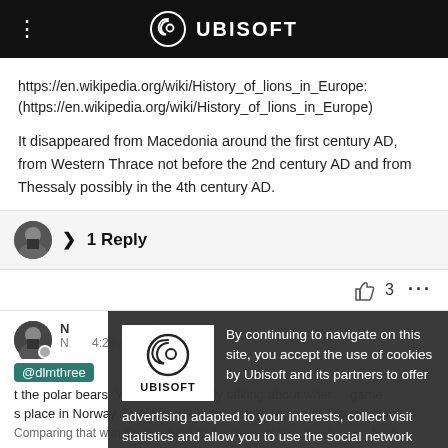UBISOFT
https://en.wikipedia.org/wiki/History_of_lions_in_Europe: (https://en.wikipedia.org/wiki/History_of_lions_in_Europe)
It disappeared from Macedonia around the first century AD, from Western Thrace not before the 2nd century AD and from Thessaly possibly in the 4th century AD.
> 1 Reply
3
By continuing to navigate on this site, you accept the use of cookies by Ubisoft and its partners to offer advertising adapted to your interests, collect visit statistics and allow you to use the social network share buttons. To learn more and set your cookies.
@dlmthree it the polar bears. YonMr is obviously talking about where the game s place in Norway, Finlari is the outnwestern region of the mainland. Comparing that with Svalbard is silly. In a straight line, the distance from